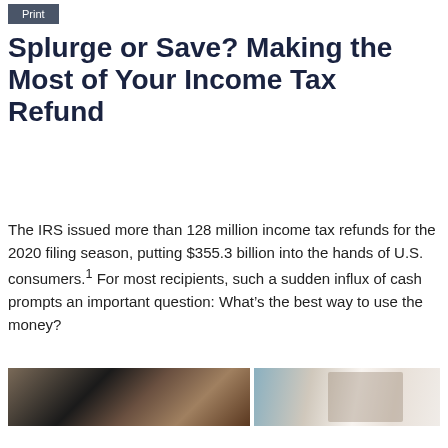Print
Splurge or Save? Making the Most of Your Income Tax Refund
The IRS issued more than 128 million income tax refunds for the 2020 filing season, putting $355.3 billion into the hands of U.S. consumers.¹ For most recipients, such a sudden influx of cash prompts an important question: What’s the best way to use the money?
[Figure (photo): Two blurred photos side by side: left shows a person at a desk with dark background, right shows a person looking down with light background]